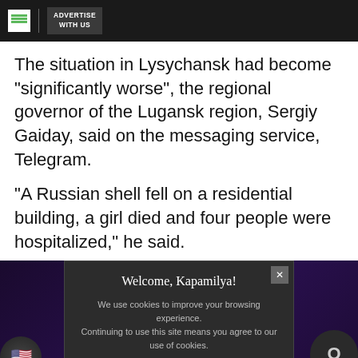ADVERTISE WITH US
The situation in Lysychansk had become "significantly worse", the regional governor of the Lugansk region, Sergiy Gaiday, said on the messaging service, Telegram.
"A Russian shell fell on a residential building, a girl died and four people were hospitalized," he said.
[Figure (screenshot): Cookie consent modal overlay with dark background reading 'Welcome, Kapamilya!' with cookie usage notice and 'I AGREE!' button, overlaid on a purple/dark advertisement background. Bottom shows an advertisement for Pomelo with exchange rate $1 = P60.]